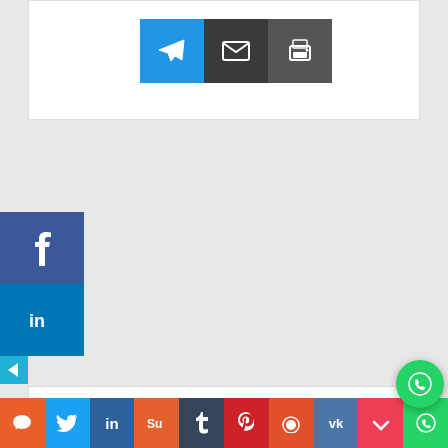[Figure (screenshot): Top card with three share/action icon buttons: blue send/telegram button, dark envelope/email button, dark printer button]
[Figure (screenshot): Left sidebar with Facebook and LinkedIn share buttons, and a small back arrow below]
[Figure (screenshot): Subscribe card with large grey envelope icon, 'Subscribe now' label, divider, and heading 'Subscribe to our mailing list to get the new updates!']
[Figure (screenshot): Bottom social sharing bar with icons for chat/comment, Twitter, LinkedIn, StumbleUpon, Tumblr, Pinterest, Reddit, VK, Pocket, WhatsApp; plus a floating WhatsApp bubble in bottom-right corner]